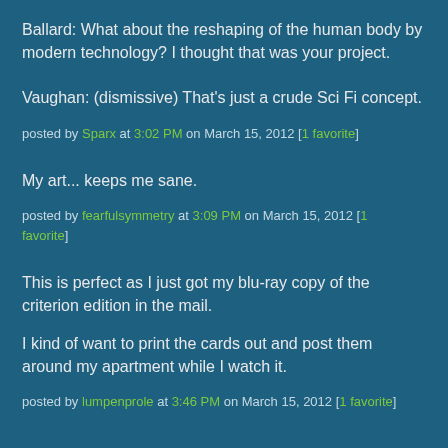Ballard: What about the reshaping of the human body by modern technology? I thought that was your project.
Vaughan: (dismissive) That's just a crude Sci Fi concept.
posted by Sparx at 3:02 PM on March 15, 2012 [1 favorite]
My art... keeps me sane.
posted by fearfulsymmetry at 3:09 PM on March 15, 2012 [1 favorite]
This is perfect as I just got my blu-ray copy of the criterion edition in the mail.
I kind of want to print the cards out and post them around my apartment while I watch it.
posted by lumpenprole at 3:46 PM on March 15, 2012 [1 favorite]